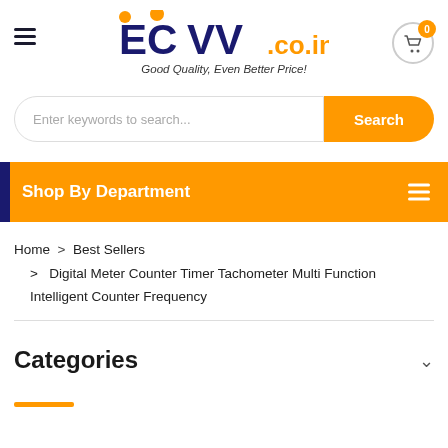[Figure (logo): ECVV.co.in logo with orange dots above letters and tagline 'Good Quality, Even Better Price!']
Enter keywords to search...
Shop By Department
Home > Best Sellers > Digital Meter Counter Timer Tachometer Multi Function Intelligent Counter Frequency
Categories